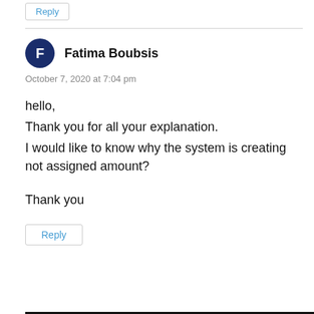Reply
Fatima Boubsis
October 7, 2020 at 7:04 pm
hello,
Thank you for all your explanation.
I would like to know why the system is creating not assigned amount?

Thank you
Reply